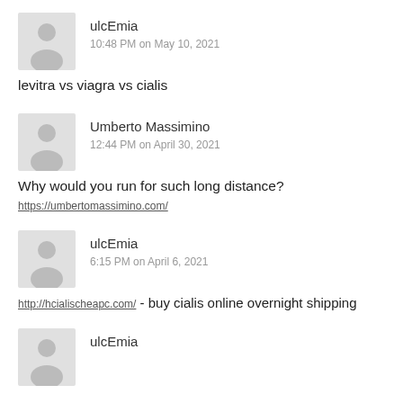[Figure (illustration): Gray silhouette avatar icon for user ulcEmia]
ulcEmia
10:48 PM on May 10, 2021
levitra vs viagra vs cialis
[Figure (illustration): Gray silhouette avatar icon for user Umberto Massimino]
Umberto Massimino
12:44 PM on April 30, 2021
Why would you run for such long distance?
https://umbertomassimino.com/
[Figure (illustration): Gray silhouette avatar icon for user ulcEmia]
ulcEmia
6:15 PM on April 6, 2021
http://hcialischeapc.com/ - buy cialis online overnight shipping
[Figure (illustration): Gray silhouette avatar icon for user ulcEmia]
ulcEmia